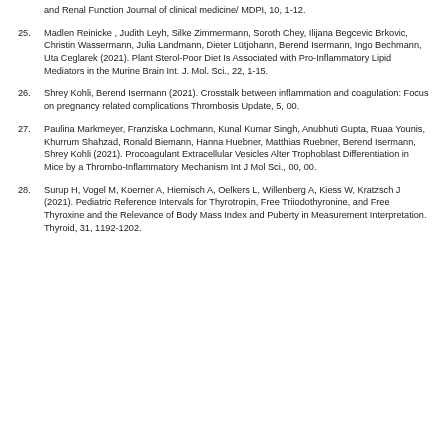and Renal Function Journal of clinical medicine/ MDPI, 10, 1-12.
25. Madlen Reinicke , Judith Leyh, Silke Zimmermann, Soroth Chey, Ilijana Begcevic Brkovic, Christin Wassermann, Julia Landmann, Dieter Lütjohann, Berend Isermann, Ingo Bechmann, Uta Ceglarek (2021). Plant Sterol-Poor Diet Is Associated with Pro-Inflammatory Lipid Mediators in the Murine Brain Int. J. Mol. Sci., 22, 1-15.
26. Shrey Kohli, Berend Isermann (2021). Crosstalk between inflammation and coagulation: Focus on pregnancy related complications Thrombosis Update, 5, 00.
27. Paulina Markmeyer, Franziska Lochmann, Kunal Kumar Singh, Anubhuti Gupta, Ruaa Younis, Khurrum Shahzad, Ronald Biemann, Hanna Huebner, Matthias Ruebner, Berend Isermann, Shrey Kohli (2021). Procoagulant Extracellular Vesicles Alter Trophoblast Differentiation in Mice by a Thrombo-Inflammatory Mechanism Int J Mol Sci., 00, 00.
28. Surup H, Vogel M, Koerner A, Hiemisch A, Oelkers L, Willenberg A, Kiess W, Kratzsch J (2021). Pediatric Reference Intervals for Thyrotropin, Free Triiodothyronine, and Free Thyroxine and the Relevance of Body Mass Index and Puberty in Measurement Interpretation. Thyroid, 31, 1192-1202.